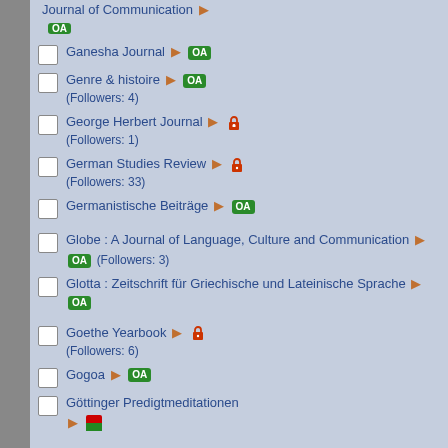Journal of Communication ▶ OA
Ganesha Journal ▶ OA
Genre & histoire ▶ OA (Followers: 4)
George Herbert Journal ▶ 🔒 (Followers: 1)
German Studies Review ▶ 🔒 (Followers: 33)
Germanistische Beiträge ▶ OA
Globe : A Journal of Language, Culture and Communication ▶ OA (Followers: 3)
Glotta : Zeitschrift für Griechische und Lateinische Sprache ▶ OA
Goethe Yearbook ▶ 🔒 (Followers: 6)
Gogoa ▶ OA
Göttinger Predigtmeditationen ▶ 🚩